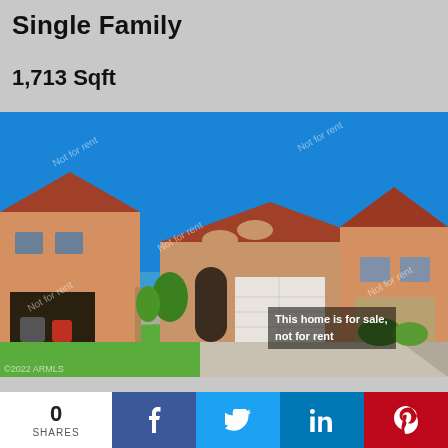Single Family
1,713 Sqft
[Figure (photo): Exterior photo of a single-story stucco home with terra cotta tile roof, two-car garage, green lawn in front, neighboring two-story houses. Watermark: 'Not for rent'. Badge: 'This home is for sale, not for rent'. MLS credit: ©2022 ARMLS.]
This home is for sale, not for rent
0 SHARES  [Facebook] [Twitter] [LinkedIn] [Pinterest]